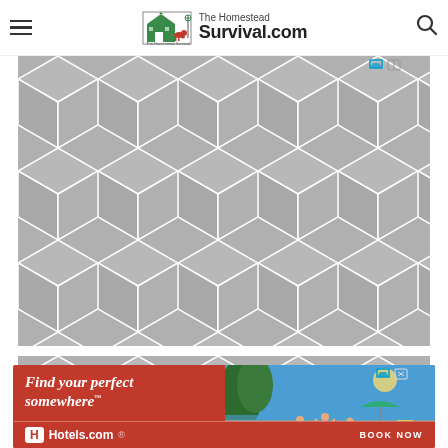The Homestead Survival.com
[Figure (infographic): Advertisement placeholder with geometric hexagon/cube pattern in gray, two stacked ad units]
[Figure (infographic): Hotels.com advertisement banner: 'Find your perfect somewhere' with beach vacation photo, Hotels.com logo, BOOK NOW call to action on red background]